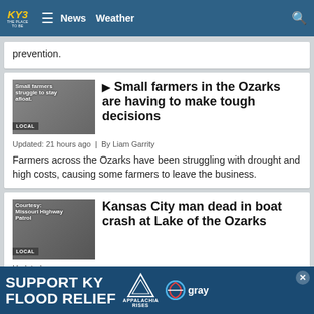KY3 THE PLACE TO BE | News | Weather
prevention.
[Figure (photo): Thumbnail image of small farmers with LOCAL badge overlay]
Small farmers in the Ozarks are having to make tough decisions
Updated: 21 hours ago | By Liam Garrity
Farmers across the Ozarks have been struggling with drought and high costs, causing some farmers to leave the business.
[Figure (photo): Thumbnail image courtesy Missouri Highway Patrol with LOCAL badge overlay]
Kansas City man dead in boat crash at Lake of the Ozarks
Updated:
On Sa
[Figure (other): Ad banner: SUPPORT KY FLOOD RELIEF - Appalachia Rises - Gray logo]